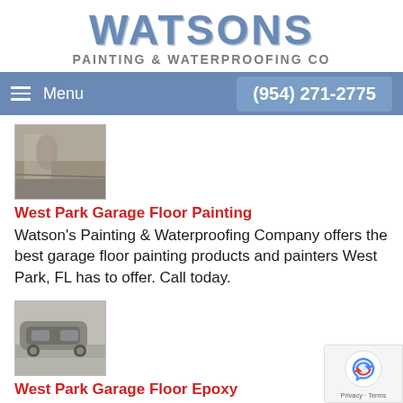[Figure (logo): Watsons Painting & Waterproofing Co logo with large stylized blue text 'WATSONS' and subtitle 'PAINTING & WATERPROOFING CO']
Menu   (954) 271-2775
[Figure (photo): Small thumbnail photo of person painting a garage floor]
West Park Garage Floor Painting
Watson's Painting & Waterproofing Company offers the best garage floor painting products and painters West Park, FL has to offer. Call today.
[Figure (photo): Small thumbnail photo of a car parked on an epoxy garage floor]
West Park Garage Floor Epoxy
For professional garage floor application, call Watson's Painting & Waterproofing Company at (954) 271-277...
[Figure (photo): Partial thumbnail photo at bottom of page]